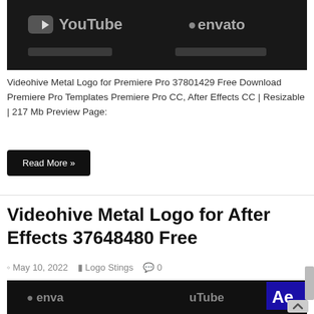[Figure (screenshot): Dark thumbnail image showing YouTube and Envato logos with blurred subtitle text on black background]
Videohive Metal Logo for Premiere Pro 37801429 Free Download Premiere Pro Templates Premiere Pro CC, After Effects CC | Resizable | 217 Mb Preview Page:
Read More »
Videohive Metal Logo for After Effects 37648480 Free
May 10, 2022   Logo Stings   0
[Figure (screenshot): Dark thumbnail image showing Envato and YouTube logos with After Effects Ae badge in top right corner on black background]